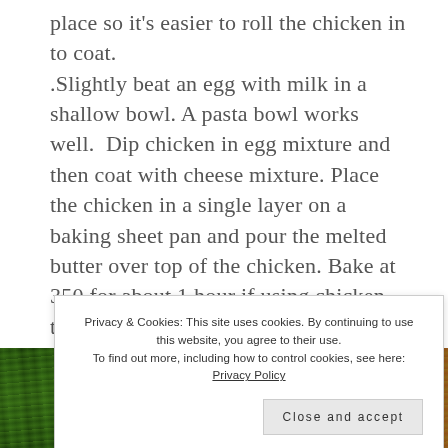place so it's easier to roll the chicken in to coat. Slightly beat an egg with milk in a shallow bowl. A pasta bowl works well. Dip chicken in egg mixture and then coat with cheese mixture. Place the chicken in a single layer on a baking sheet pan and pour the melted butter over top of the chicken. Bake at 350 for about 1 hour if using chicken thighs or drumsticks. Bake at 350 degrees about 25 minutes if using boneless skinless chicken breast. While your at it, you can add some veggies to the sheet pan to bake along with the chicken to make dinner super easy!
[Figure (photo): Photo strip of green vegetables (asparagus or green beans) with an orange element on the right side]
Privacy & Cookies: This site uses cookies. By continuing to use this website, you agree to their use. To find out more, including how to control cookies, see here: Privacy Policy
Close and accept